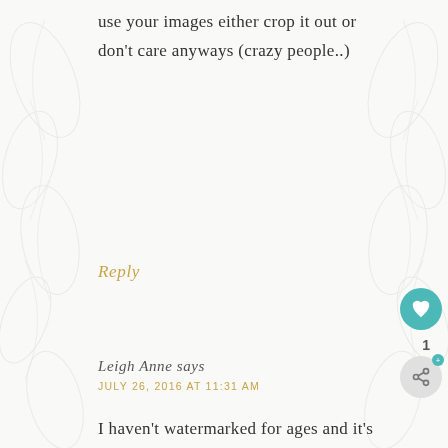use your images either crop it out or don't care anyways (crazy people..)
Reply
Leigh Anne says
JULY 26, 2016 AT 11:31 AM
I haven't watermarked for ages and it's so FREEING!! It was time consuming and it felt pointless, because people would still take